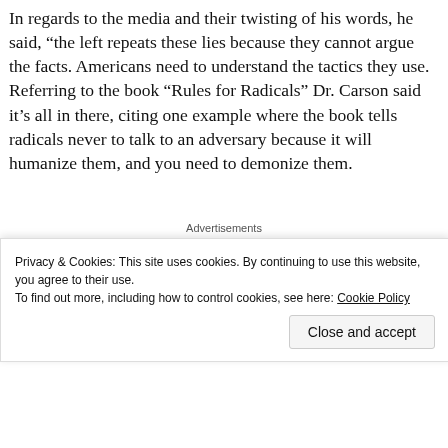In regards to the media and their twisting of his words, he said, “the left repeats these lies because they cannot argue the facts. Americans need to understand the tactics they use. Referring to the book “Rules for Radicals” Dr. Carson said it’s all in there, citing one example where the book tells radicals never to talk to an adversary because it will humanize them, and you need to demonize them.
[Figure (other): Automattic advertisement: 'Build a better web and a better world.']
He said recently a place that was going to have him talk to their youth was being pressured to cancel his visit, saying he
Privacy & Cookies: This site uses cookies. By continuing to use this website, you agree to their use. To find out more, including how to control cookies, see here: Cookie Policy
Close and accept